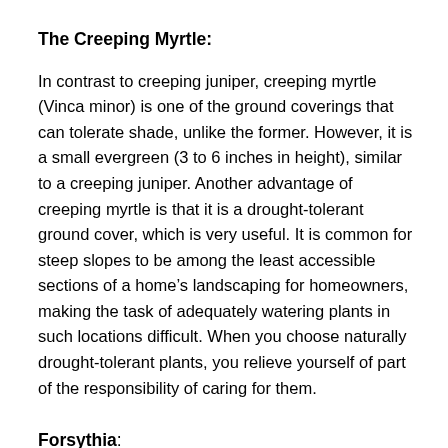The Creeping Myrtle:
In contrast to creeping juniper, creeping myrtle (Vinca minor) is one of the ground coverings that can tolerate shade, unlike the former. However, it is a small evergreen (3 to 6 inches in height), similar to a creeping juniper. Another advantage of creeping myrtle is that it is a drought-tolerant ground cover, which is very useful. It is common for steep slopes to be among the least accessible sections of a home’s landscaping for homeowners, making the task of adequately watering plants in such locations difficult. When you choose naturally drought-tolerant plants, you relieve yourself of part of the responsibility of caring for them.
Forsythia: